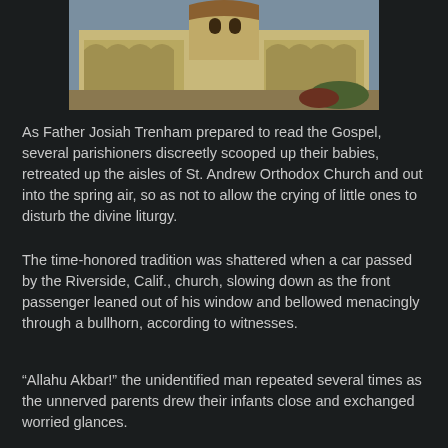[Figure (photo): Photograph of St. Andrew Orthodox Church building exterior — a large beige/tan Mediterranean-style church with arched colonnades, a central tower, and red-tiled roofing elements, surrounded by landscaping.]
As Father Josiah Trenham prepared to read the Gospel, several parishioners discreetly scooped up their babies, retreated up the aisles of St. Andrew Orthodox Church and out into the spring air, so as not to allow the crying of little ones to disturb the divine liturgy.
The time-honored tradition was shattered when a car passed by the Riverside, Calif., church, slowing down as the front passenger leaned out of his window and bellowed menacingly through a bullhorn, according to witnesses.
“Allahu Akbar!” the unidentified man repeated several times as the unnerved parents drew their infants close and exchanged worried glances.